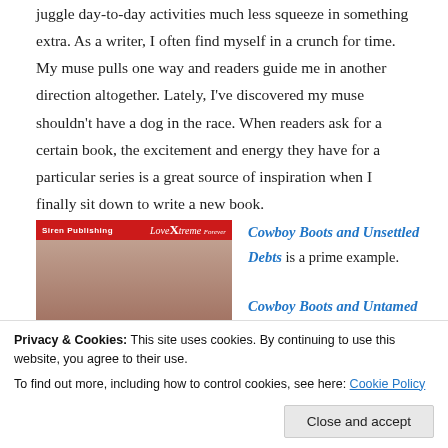juggle day-to-day activities much less squeeze in something extra. As a writer, I often find myself in a crunch for time. My muse pulls one way and readers guide me in another direction altogether. Lately, I've discovered my muse shouldn't have a dog in the race. When readers ask for a certain book, the excitement and energy they have for a particular series is a great source of inspiration when I finally sit down to write a new book.
[Figure (photo): Book cover image with red banner reading 'Siren Publishing LoveXtreme Forever' and figures of men, author name Natasha Jove visible at bottom]
Cowboy Boots and Unsettled Debts is a prime example. Cowboy Boots and Untamed Hearts kicked off the Cowboy...
[Figure (photo): Partial book cover image at bottom left]
and western title at Amazon. A
Privacy & Cookies: This site uses cookies. By continuing to use this website, you agree to their use.
To find out more, including how to control cookies, see here: Cookie Policy